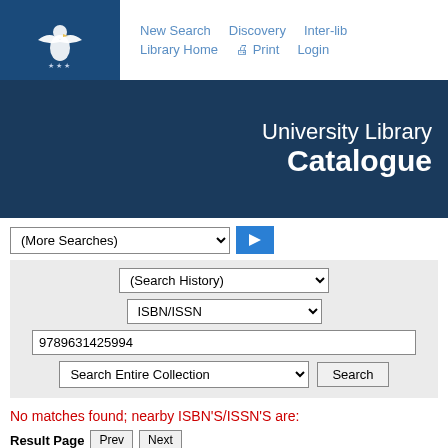[Figure (logo): University eagle logo in white on dark blue square background]
New Search  Discovery  Inter-lib  Library Home  Print  Login
University Library Catalogue
(More Searches) dropdown with go button
(Search History) dropdown
ISBN/ISSN dropdown
9789631425994
Search Entire Collection dropdown with Search button
No matches found; nearby ISBN'S/ISSN'S are:
Result Page  Prev  Next
Save Marked Record
Save All Records